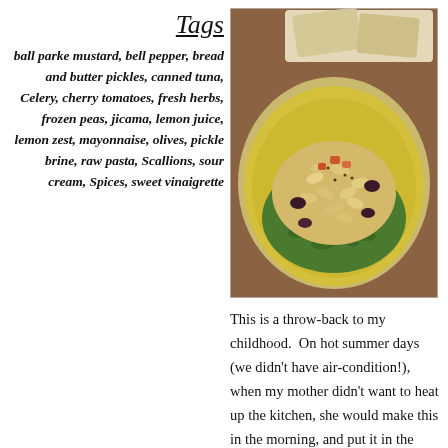Tags
ball parke mustard, bell pepper, bread and butter pickles, canned tuna, Celery, cherry tomatoes, fresh herbs, frozen peas, jicama, lemon juice, lemon zest, mayonnaise, olives, pickle brine, raw pasta, Scallions, sour cream, Spices, sweet vinaigrette
[Figure (photo): A yellow plate with macaroni tuna salad served on a bed of arugula, topped with olives, diced tomatoes, and seasoning, accompanied by crackers in the background.]
This is a throw-back to my childhood.  On hot summer days (we didn't have air-condition!), when my mother didn't want to heat up the kitchen, she would make this in the morning, and put it in the fridge.  At dinner time, she would add it to chopped iceberg lettuce, along with thawed frozen peas.  It